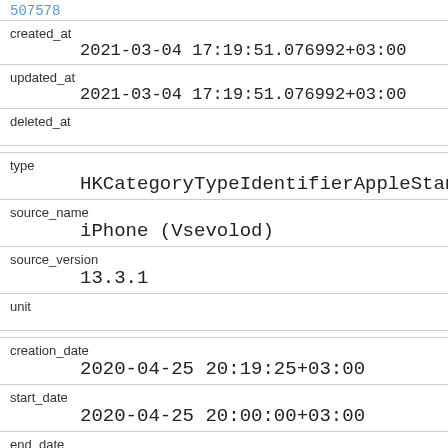created_at
    2021-03-04 17:19:51.076992+03:00
updated_at
    2021-03-04 17:19:51.076992+03:00
deleted_at
type
    HKCategoryTypeIdentifierAppleStandHour
source_name
    iPhone (Vsevolod)
source_version
    13.3.1
unit
creation_date
    2020-04-25 20:19:25+03:00
start_date
    2020-04-25 20:00:00+03:00
end_date
    2020-04-25 21:00:00+03:00